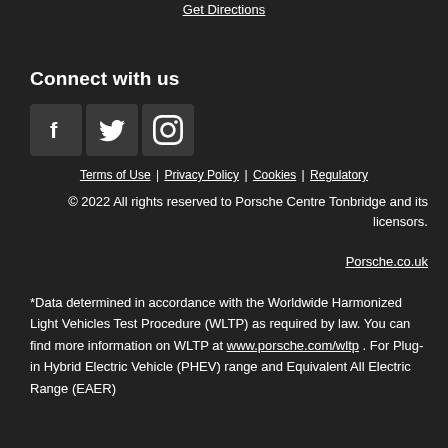Get Directions
Connect with us
[Figure (other): Three social media icon buttons: Facebook (f), Twitter (bird), and Instagram (camera) on dark square backgrounds]
Terms of Use | Privacy Policy | Cookies | Regulatory
© 2022 All rights reserved to Porsche Centre Tonbridge and its licensors.
Porsche.co.uk
*Data determined in accordance with the Worldwide Harmonized Light Vehicles Test Procedure (WLTP) as required by law. You can find more information on WLTP at www.porsche.com/wltp . For Plug-in Hybrid Electric Vehicle (PHEV) range and Equivalent All Electric Range (EAER)